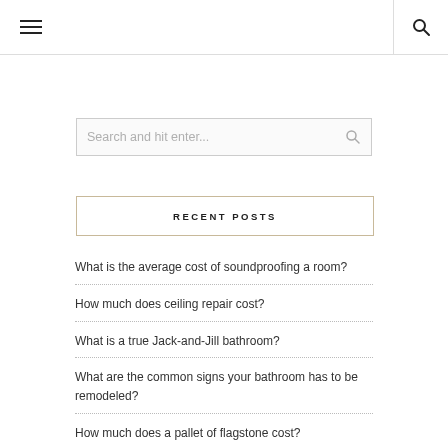navigation header with hamburger menu and search icon
Search and hit enter...
RECENT POSTS
What is the average cost of soundproofing a room?
How much does ceiling repair cost?
What is a true Jack-and-Jill bathroom?
What are the common signs your bathroom has to be remodeled?
How much does a pallet of flagstone cost?